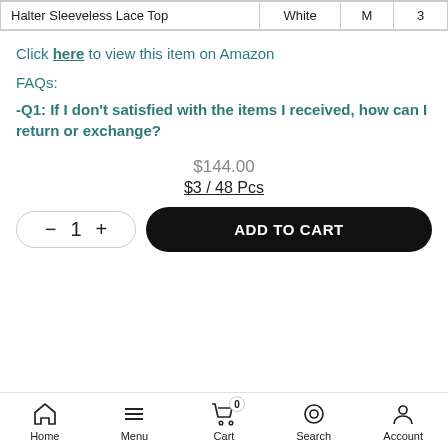| Product | Color | Size | Qty |
| --- | --- | --- | --- |
| Halter Sleeveless Lace Top | White | M | 3 |
Click here to view this item on Amazon
FAQs:
-Q1: If I don't satisfied with the items I received, how can I return or exchange?
$144.00
$3 / 48 Pcs
Home  Menu  Cart 0  Search  Account